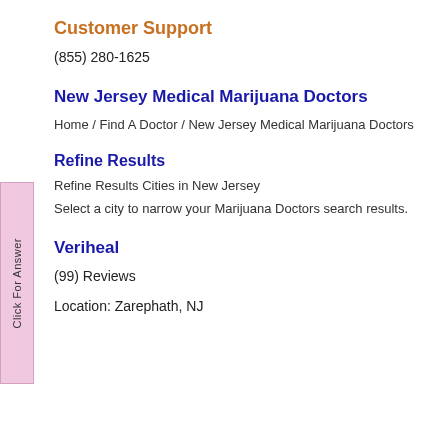Customer Support
(855) 280-1625
New Jersey Medical Marijuana Doctors
Home / Find A Doctor / New Jersey Medical Marijuana Doctors
Refine Results
Refine Results Cities in New Jersey
Select a city to narrow your Marijuana Doctors search results.
Veriheal
(99) Reviews
Location: Zarephath, NJ